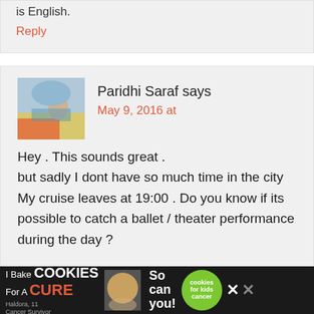is English.
Reply
Paridhi Saraf says
May 9, 2016 at
Hey . This sounds great . but sadly I dont have so much time in the city My cruise leaves at 19:00 . Do you know if its possible to catch a ballet / theater performance during the day ?
[Figure (photo): Avatar photo of Paridhi Saraf showing a person outdoors with colorful background]
I Bake COOKIES For A CURE Haldora, 11 Cancer Survivor So can you! cookies for kids cancer